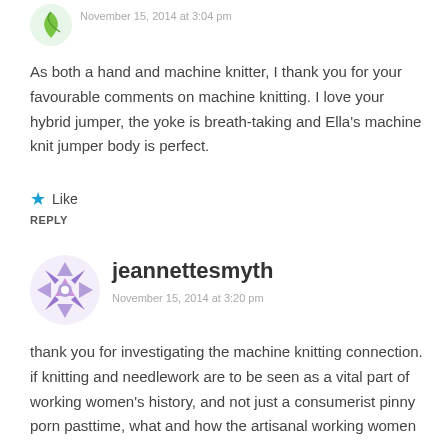[Figure (illustration): User avatar icon — green leaf/arrow shape]
November 15, 2014 at 3:04 pm
As both a hand and machine knitter, I thank you for your favourable comments on machine knitting. I love your hybrid jumper, the yoke is breath-taking and Ella's machine knit jumper body is perfect.
Like
REPLY
[Figure (illustration): User avatar icon — purple geometric snowflake/quilt pattern for jeannettesmyth]
jeannettesmyth
November 15, 2014 at 3:20 pm
thank you for investigating the machine knitting connection. if knitting and needlework are to be seen as a vital part of working women's history, and not just a consumerist pinny porn pasttime, what and how the artisanal working women